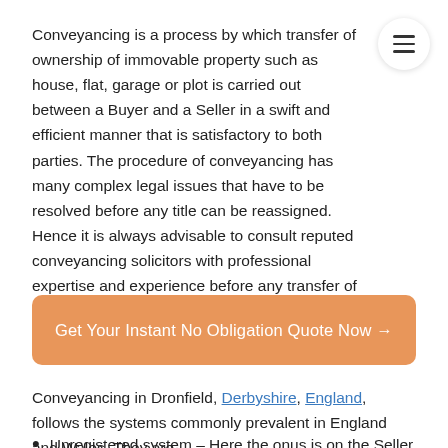Conveyancing is a process by which transfer of ownership of immovable property such as house, flat, garage or plot is carried out between a Buyer and a Seller in a swift and efficient manner that is satisfactory to both parties. The procedure of conveyancing has many complex legal issues that have to be resolved before any title can be reassigned. Hence it is always advisable to consult reputed conveyancing solicitors with professional expertise and experience before any transfer of ownership is initiated.
Get Your Instant No Obligation Quote Now →
Conveyancing in Dronfield, Derbyshire, England, follows the systems commonly prevalent in England and Wales. They are –
Unregistered system – Here the onus is on the Seller to